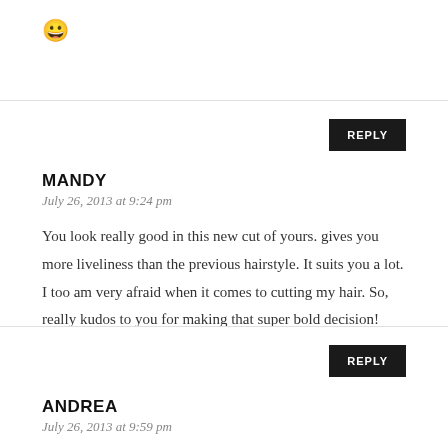[Figure (illustration): Smiley face emoji 😀]
MANDY
July 26, 2013 at 9:24 pm
You look really good in this new cut of yours. gives you more liveliness than the previous hairstyle. It suits you a lot. I too am very afraid when it comes to cutting my hair. So, really kudos to you for making that super bold decision!
ANDREA
July 26, 2013 at 9:59 pm
My school still does that sadly. 🙁